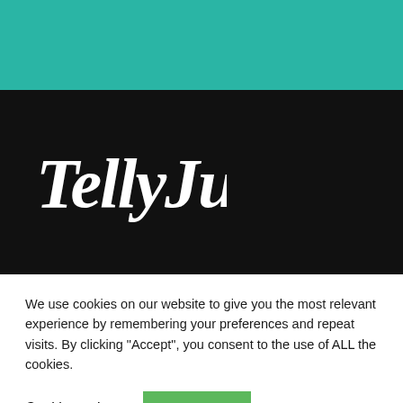[Figure (logo): Teal/green colored top banner bar]
[Figure (logo): TellyJuice logo in white script lettering on black background]
We use cookies on our website to give you the most relevant experience by remembering your preferences and repeat visits. By clicking “Accept”, you consent to the use of ALL the cookies.
Cookie settings
ACCEPT